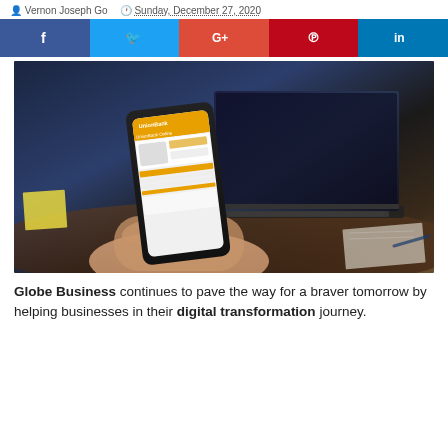Vernon Joseph Go   Sunday, December 27, 2020
[Figure (other): Social media share buttons: Facebook, Twitter, Google+, Pinterest, LinkedIn]
[Figure (photo): Person holding a smartphone showing UnionBank Online app, with a laptop in the background on a desk]
Globe Business continues to pave the way for a braver tomorrow by helping businesses in their digital transformation journey.